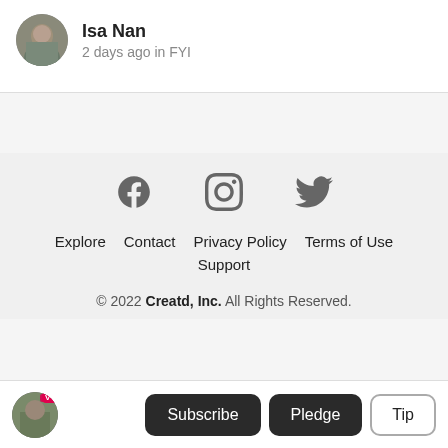[Figure (photo): Circular avatar photo of Isa Nan]
Isa Nan
2 days ago in FYI
[Figure (illustration): Social media icons: Facebook, Instagram, Twitter]
Explore  Contact  Privacy Policy  Terms of Use  Support
© 2022 Creatd, Inc. All Rights Reserved.
[Figure (photo): Small circular avatar with V+ badge at bottom bar]
Subscribe  Pledge  Tip